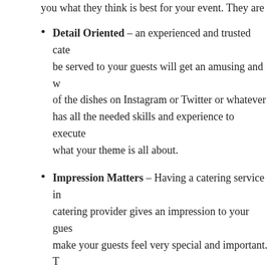you what they think is best for your event. They are
Detail Oriented – an experienced and trusted cate... be served to your guests will get an amusing and w... of the dishes on Instagram or Twitter or whatever... has all the needed skills and experience to execute... what your theme is all about.
Impression Matters – Having a catering service in... catering provider gives an impression to your gues... make your guests feel very special and important. T... your guests because you have managed to choose...
CONCLUSION
If you are to host a special or an important event or pa... the best caterers equipment rentals Rockland NY. The... important details of your events lists. Just imagine the... by just assigning the best part of any party to a truste...